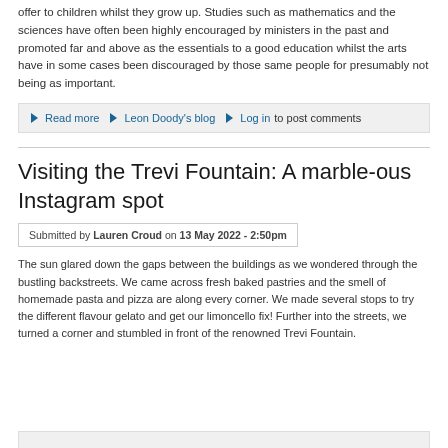offer to children whilst they grow up. Studies such as mathematics and the sciences have often been highly encouraged by ministers in the past and promoted far and above as the essentials to a good education whilst the arts have in some cases been discouraged by those same people for presumably not being as important.
➡ Read more ➡ Leon Doody's blog ➡ Log in to post comments
Visiting the Trevi Fountain: A marble-ous Instagram spot
Submitted by Lauren Croud on 13 May 2022 - 2:50pm
The sun glared down the gaps between the buildings as we wondered through the bustling backstreets. We came across fresh baked pastries and the smell of homemade pasta and pizza are along every corner. We made several stops to try the different flavour gelato and get our limoncello fix! Further into the streets, we turned a corner and stumbled in front of the renowned Trevi Fountain.